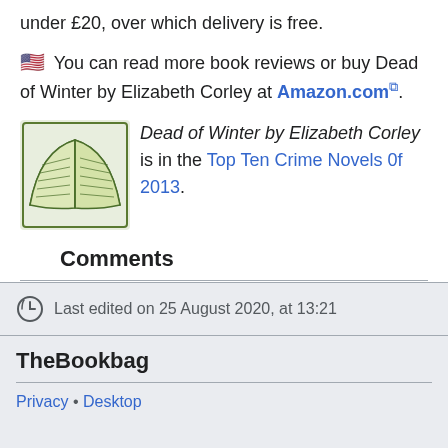under £20, over which delivery is free.
🇺🇸 You can read more book reviews or buy Dead of Winter by Elizabeth Corley at Amazon.com.
[Figure (illustration): Sketch illustration of an open book with handwritten lines, drawn in dark green ink style]
Dead of Winter by Elizabeth Corley is in the Top Ten Crime Novels 0f 2013.
Comments
Last edited on 25 August 2020, at 13:21
TheBookbag
Privacy • Desktop